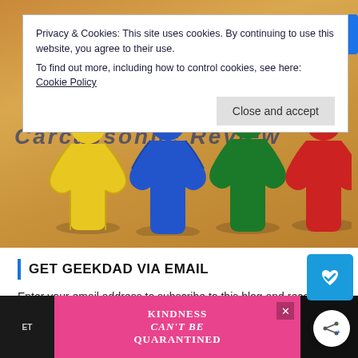[Figure (screenshot): Cookie/privacy consent banner overlay on a webpage showing four colorful meeple game pieces (yellow, blue, green, red) on a wooden surface background]
Privacy & Cookies: This site uses cookies. By continuing to use this website, you agree to their use.
To find out more, including how to control cookies, see here: Cookie Policy
Close and accept
GET GEEKDAD VIA EMAIL
Enter your email address to subscribe to this blog and receive notifications of new posts by email.
[Figure (infographic): Bottom advertisement bar with pink background and text KINDNESS CAN'T BE QUARANTINED]